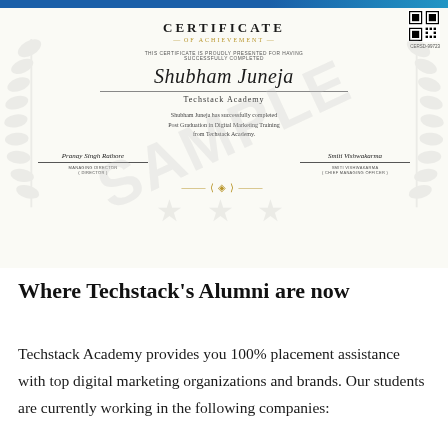[Figure (illustration): Sample certificate of achievement from Techstack Academy awarded to Shubham Juneja for completing Post Graduation in Digital Marketing Training, with signatures and ornamental design elements including laurel wreath watermark, stars, and gold ornament. SAMPLE watermark overlaid diagonally.]
Where Techstack's Alumni are now
Techstack Academy provides you 100% placement assistance with top digital marketing organizations and brands. Our students are currently working in the following companies: